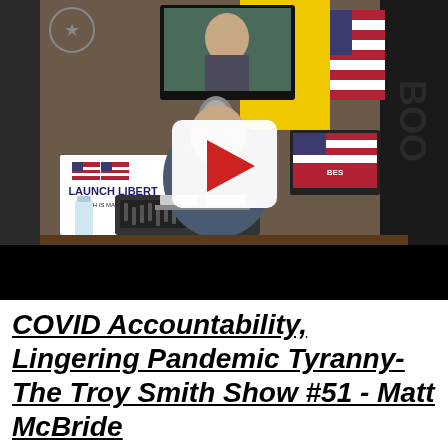[Figure (screenshot): Video thumbnail showing a man sitting at a broadcast desk with a laptop, microphone, audio mixer, and multiple screens in a studio-like setting decorated with American flags and a 'Launch Liberty' banner. A white play button overlay is visible in the center of the image. The lower portion of the video frame is black.]
COVID Accountability, Lingering Pandemic Tyranny- The Troy Smith Show #51 - Matt McBride